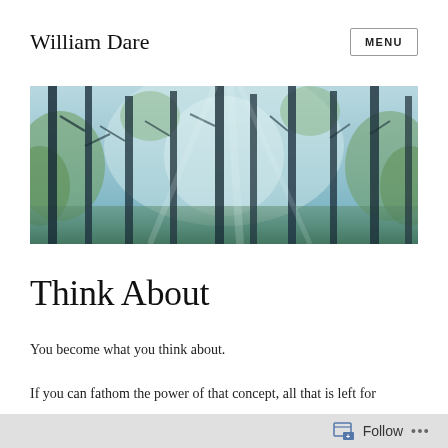William Dare
[Figure (photo): A misty forest with tall dark tree trunks and soft blue-green light filtering through the trees]
Think About
You become what you think about.
If you can fathom the power of that concept, all that is left for
Follow ...